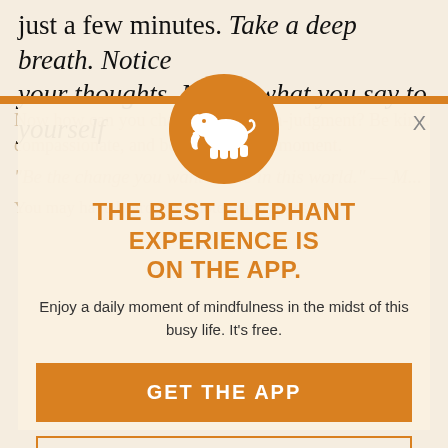just a few minutes. Take a deep breath. Notice your thoughts. Notice what you say to yourself
[Figure (infographic): App promotion modal overlay with orange elephant logo circle, headline, subtitle, and two buttons on a semi-transparent warm background. Background article text is partially visible behind the modal.]
THE BEST ELEPHANT EXPERIENCE IS ON THE APP.
Enjoy a daily moment of mindfulness in the midst of this busy life. It's free.
GET THE APP
OPEN IN APP